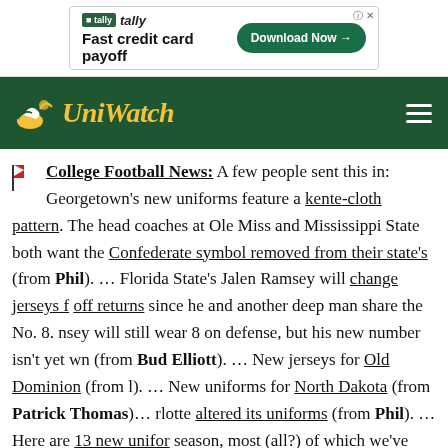[Figure (other): Tally advertisement banner: 'Fast credit card payoff' with Download Now button]
Uni Watch — site header with logo and hamburger menu
College Football News: A few people sent this in: Georgetown's new uniforms feature a kente-cloth pattern. The head coaches at Ole Miss and Mississippi State both want the Confederate symbol removed from their state's (from Phil). ... Florida State's Jalen Ramsey will change jerseys for kickoff returns since he and another deep man share the No. 8. Ramsey will still wear 8 on defense, but his new number isn't yet known (from Bud Elliott). ... New jerseys for Old Dominion (from ...). ... New uniforms for North Dakota (from Patrick Thomas)... Charlotte altered its uniforms (from Phil). ... Here are 13 new uniforms this season, most (all?) of which we've seen here before (from Phil). New yard line font for North Carolina. ... Illinois changed its midfield...